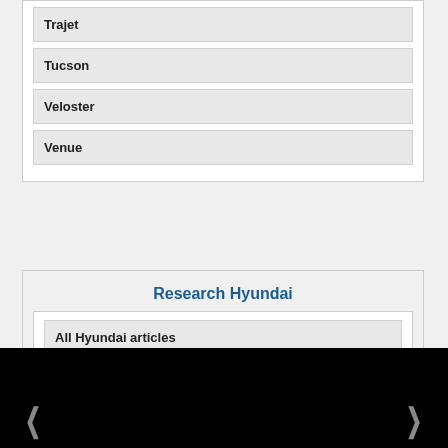Trajet
Tucson
Veloster
Venue
Research Hyundai
All Hyundai articles
All Palisade articles
[Figure (photo): Dark/black image area with navigation arrows on left and right sides at the bottom]